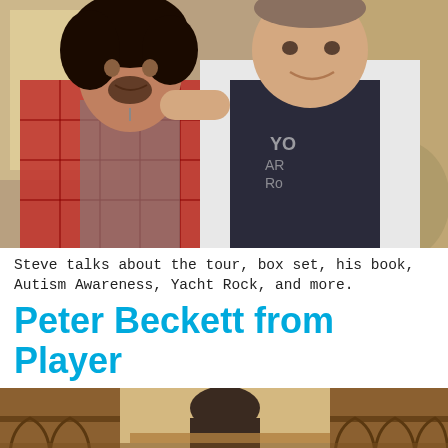[Figure (photo): Two men posing together indoors; left man has curly dark hair and wears a plaid shirt with necklaces, right man is taller and wears a white zip-up jacket over a dark graphic tee.]
Steve talks about the tour, box set, his book, Autism Awareness, Yacht Rock, and more.
Peter Beckett from Player
[Figure (photo): Partial view of a restaurant or patio setting with wooden lattice furniture and a blurred figure seated at a table.]